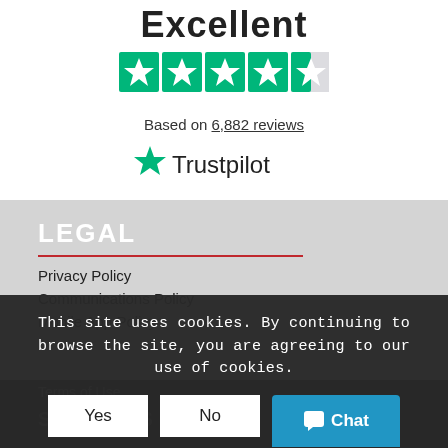Excellent
[Figure (other): Trustpilot 4.5 star rating — five green star icons, last star partially filled]
Based on 6,882 reviews
[Figure (logo): Trustpilot logo with green star icon and 'Trustpilot' text]
LEGAL
Privacy Policy
Communications Policy
Mobile App Policy
Terms of Use
This site uses cookies. By continuing to browse the site, you are agreeing to our use of cookies.
SERVICES